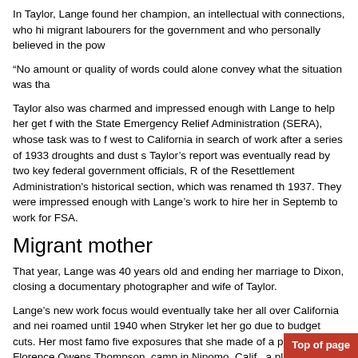In Taylor, Lange found her champion, an intellectual with connections, who hi migrant labourers for the government and who personally believed in the pow
“No amount or quality of words could alone convey what the situation was tha
Taylor also was charmed and impressed enough with Lange to help her get f with the State Emergency Relief Administration (SERA), whose task was to f west to California in search of work after a series of 1933 droughts and dust s Taylor’s report was eventually read by two key federal government officials, R of the Resettlement Administration's historical section, which was renamed th 1937. They were impressed enough with Lange’s work to hire her in Septemb to work for FSA.
Migrant mother
That year, Lange was 40 years old and ending her marriage to Dixon, closing a documentary photographer and wife of Taylor.
Lange’s new work focus would eventually take her all over California and nei roamed until 1940 when Stryker let her go due to budget cuts. Her most famo five exposures that she made of a poor mother, Florence Owens Thompson, camp in Nipomo, Calif., a place that Lange nearly passed up after an exhaus
After processing the film Lange submitted them for publication at the San Fra Washington, D.C.-based FSA. The Migrant Mother photograph also accompa in September 1936.25
The power of that photograph and other ones made by Lange laid in her the instructor Iain Cameron said during a lecture. That obviously w in the case of Migrant Mother, Lange captured the relatively young mother